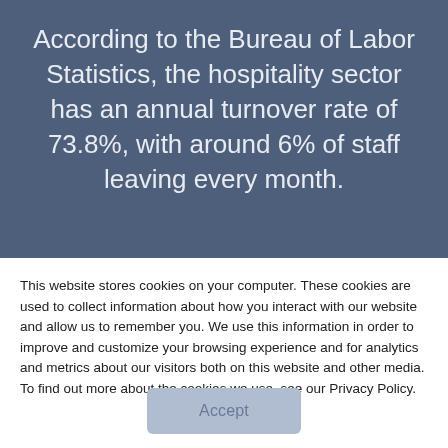According to the Bureau of Labor Statistics, the hospitality sector has an annual turnover rate of 73.8%, with around 6% of staff leaving every month.
This website stores cookies on your computer. These cookies are used to collect information about how you interact with our website and allow us to remember you. We use this information in order to improve and customize your browsing experience and for analytics and metrics about our visitors both on this website and other media. To find out more about the cookies we use, see our Privacy Policy.
Accept